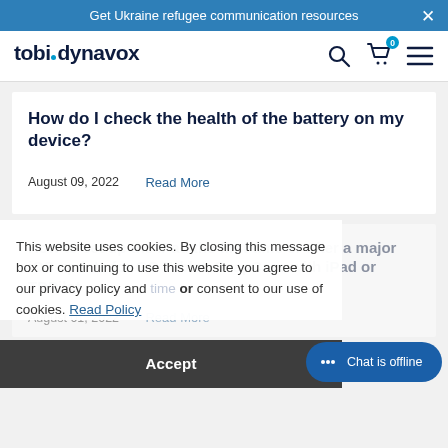Get Ukraine refugee communication resources
[Figure (logo): Tobii Dynavox logo with navigation icons (search, cart with badge '0', hamburger menu)]
How do I check the health of the battery on my device?
August 09, 2022   Read More
This website uses cookies. By closing this message box or continuing to use this website you agree to our privacy policy and consent to our use of cookies. Read Policy
How to set up the iPad the first time or after a major iOS update for GO Tablet, SnapCase with iPad or TDPilot
August 01, 2022   Read More
Accept
Chat is offline